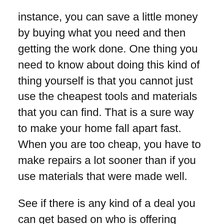instance, you can save a little money by buying what you need and then getting the work done. One thing you need to know about doing this kind of thing yourself is that you cannot just use the cheapest tools and materials that you can find. That is a sure way to make your home fall apart fast. When you are too cheap, you have to make repairs a lot sooner than if you use materials that were made well.
See if there is any kind of a deal you can get based on who is offering services. It's pretty easy to find out who offers what if you look them up through Google and then on social media websites. If there aren't any deals or talk about what you can save on, then you can use the contact information online that you find to ask them about what they offer. Shop around a little and see who is able to do what, and negotiate with someone if you feel like they will work with you on a lower price.